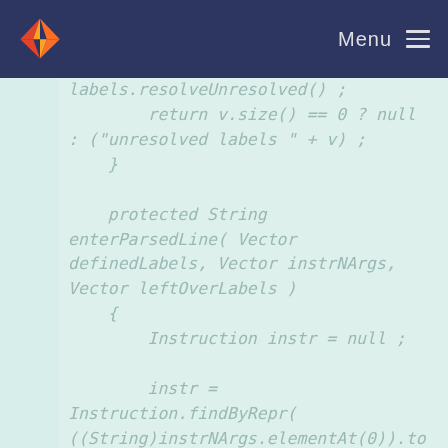Menu
labels.resolveUnresolved() ;
        return v.size() == 0 ? null
: ("unresolved labels " + v) ;
    }

    protected String
enterParsedLine( Vector
definedLabels, Vector instrNArgs,
Vector leftOverLabels )
    {
        Instruction instr = null ;

        instr =
Instruction.findByRepr(
((String)instrNArgs.elementAt(0)).to
LowerCase() ) ;

        if ( instr == null )
        {
            return "unknown